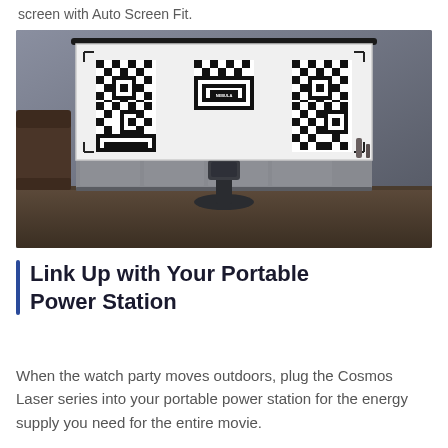screen with Auto Screen Fit.
[Figure (photo): A Nebula Cosmos Laser projector on a stand projecting a large QR code-like calibration pattern onto a pull-down screen mounted on a wall in a modern living room. A media console sits below the screen and a dark armchair is visible on the left.]
Link Up with Your Portable Power Station
When the watch party moves outdoors, plug the Cosmos Laser series into your portable power station for the energy supply you need for the entire movie.